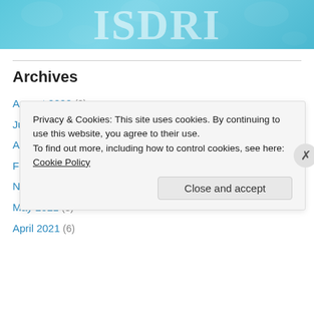[Figure (illustration): Blue decorative banner header with large white semi-transparent text letters and floral/botanical pattern overlay]
Archives
August 2022 (2)
July 2022 (1)
April 2022 (1)
February 2022 (3)
November 2021 (1)
May 2021 (3)
April 2021 (6)
Privacy & Cookies: This site uses cookies. By continuing to use this website, you agree to their use.
To find out more, including how to control cookies, see here: Cookie Policy